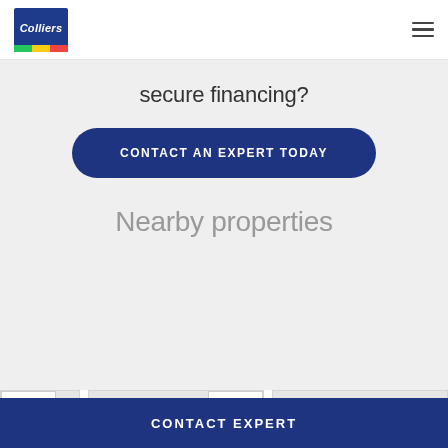[Figure (logo): Colliers logo - blue box with white italic Colliers text and green/yellow/red stripe at bottom]
secure financing?
CONTACT AN EXPERT TODAY
Nearby properties
SOLD
SOLD
CONTACT EXPERT